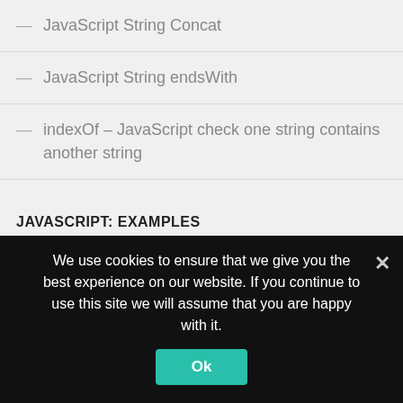JavaScript String Concat
JavaScript String endsWith
indexOf – JavaScript check one string contains another string
JAVASCRIPT: EXAMPLES
How to remove and replace a particular element of an array in JavaScript?
How to add and remove the property of the object in JavaScript?
We use cookies to ensure that we give you the best experience on our website. If you continue to use this site we will assume that you are happy with it.